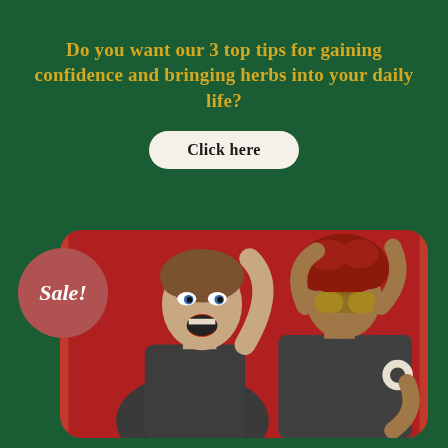Do you want our 3 top tips for gaining confidence and bringing herbs into your daily life?
Click here
[Figure (photo): Two women posing dramatically against a red background, both wearing dark/grey tops. The woman on the left has short brown hair and is screaming with her mouth open, touching her hair. The woman on the right has red curly hair, sunglasses, and a pearl bracelet, holding her head with both hands. A red circular badge with 'Sale!' in white italic text is overlaid on the left side of the image.]